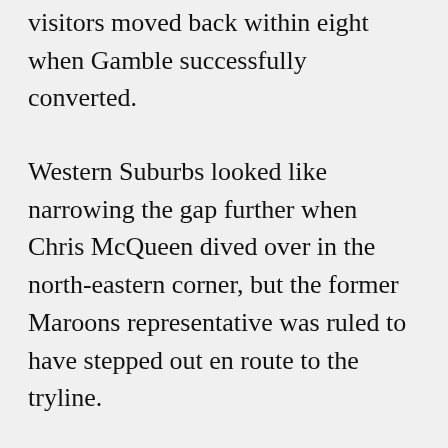visitors moved back within eight when Gamble successfully converted.
Western Suburbs looked like narrowing the gap further when Chris McQueen dived over in the north-eastern corner, but the former Maroons representative was ruled to have stepped out en route to the tryline.
Wentworthville's Nathan Milone looked threatening in converting two kick returns into line-breaks, being dragged down on both occasions - but it would be rampaging forward Vave who would score the side's third. Vave,